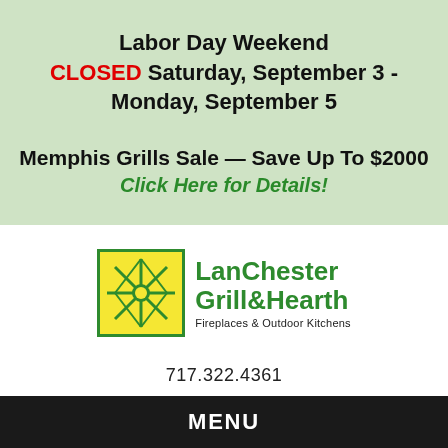Labor Day Weekend CLOSED Saturday, September 3 - Monday, September 5
Memphis Grills Sale — Save Up To $2000 Click Here for Details!
[Figure (logo): LanChester Grill & Hearth logo with yellow and green sunburst square icon and green text]
717.322.4361
MENU